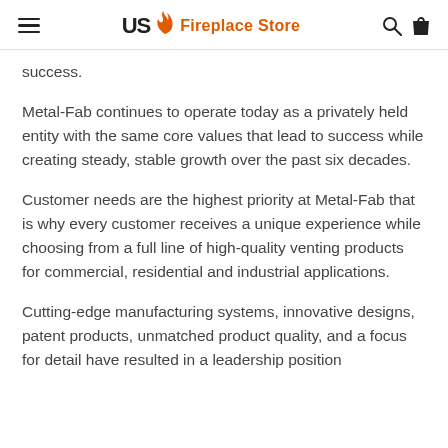US Fireplace Store
success.
Metal-Fab continues to operate today as a privately held entity with the same core values that lead to success while creating steady, stable growth over the past six decades.
Customer needs are the highest priority at Metal-Fab that is why every customer receives a unique experience while choosing from a full line of high-quality venting products for commercial, residential and industrial applications.
Cutting-edge manufacturing systems, innovative designs, patent products, unmatched product quality, and a focus for detail have resulted in a leadership position